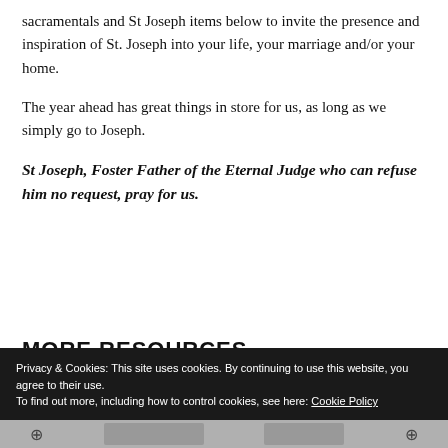sacramentals and St Joseph items below to invite the presence and inspiration of St. Joseph into your life, your marriage and/or your home.
The year ahead has great things in store for us, as long as we simply go to Joseph.
St Joseph, Foster Father of the Eternal Judge who can refuse him no request, pray for us.
MORE RESOURCES
Privacy & Cookies: This site uses cookies. By continuing to use this website, you agree to their use. To find out more, including how to control cookies, see here: Cookie Policy
Close and accept